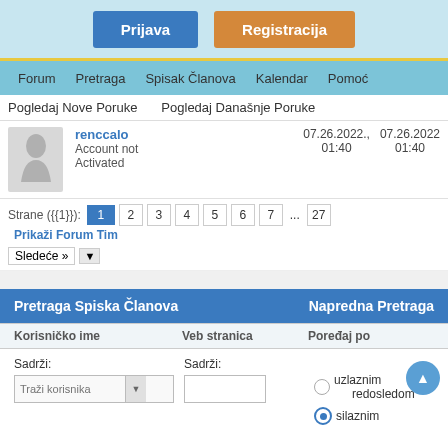[Figure (screenshot): Top bar with Prijava (blue button) and Registracija (orange button) on light blue background]
Forum  Pretraga  Spisak Članova  Kalendar  Pomoć
Pogledaj Nove Poruke    Pogledaj Današnje Poruke
renccalo
Account not Activated
07.26.2022., 01:40
07.26.2022 01:40
Strane ({{1}}): 1 2 3 4 5 6 7 ... 27  Prikaži Forum Tim
Sledeće »
| Pretraga Spiska Članova | Napredna Pretraga |
| --- | --- |
| Korisničko ime | Veb stranica | Poređaj po |
| --- | --- | --- |
| Sadrži: [Traži korisnika ▼] | Sadrži: [ ] | ○ uzlaznim redosledom
● silaznim |